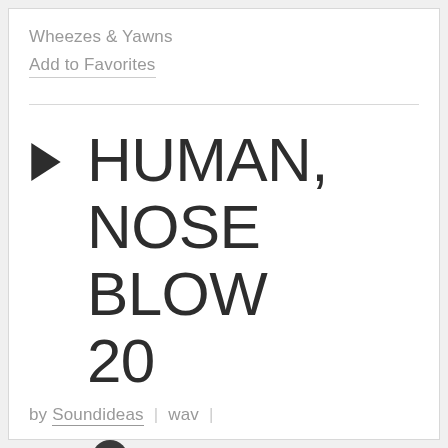Wheezes & Yawns
Add to Favorites
HUMAN, NOSE BLOW 20
by Soundideas  |  wav  |
0:01  |  ℹ